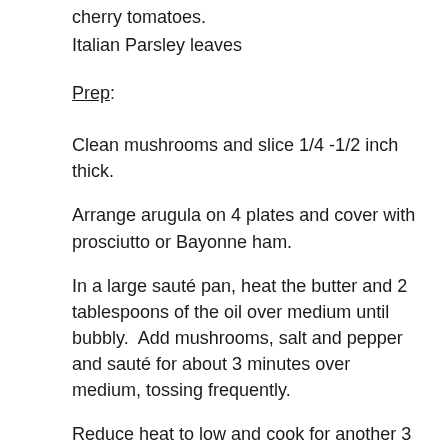cherry tomatoes.
Italian Parsley leaves
Prep:
Clean mushrooms and slice 1/4 -1/2 inch thick.
Arrange arugula on 4 plates and cover with prosciutto or Bayonne ham.
In a large sauté pan, heat the butter and 2 tablespoons of the oil over medium until bubbly.  Add mushrooms, salt and pepper and sauté for about 3 minutes over medium, tossing frequently.
Reduce heat to low and cook for another 3 minutes.